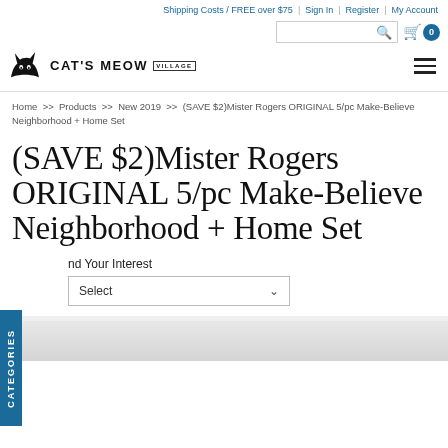Shipping Costs / FREE over $75 | Sign In | Register | My Account
[Figure (logo): Cat's Meow Village logo with black cat silhouette and text]
Home >> Products >> New 2019 >> (SAVE $2)Mister Rogers ORIGINAL 5/pc Make-Believe Neighborhood + Home Set
(SAVE $2)Mister Rogers ORIGINAL 5/pc Make-Believe Neighborhood + Home Set
nd Your Interest
Select